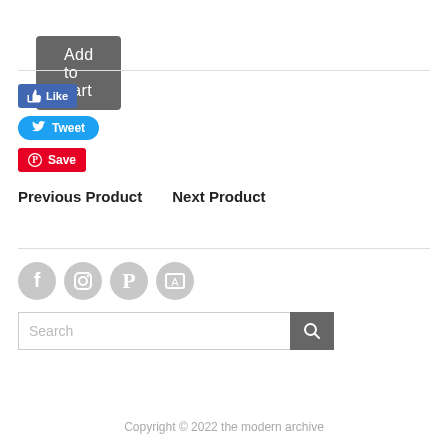Add to cart
[Figure (screenshot): Social media share buttons: Facebook Like (blue), Twitter Tweet (light blue), Pinterest Save (red)]
Previous Product   Next Product
[Figure (screenshot): Footer social media icons: Facebook, Instagram, Pinterest, and a gallery icon (all gray circles)]
[Figure (screenshot): Search input field with search button]
Copyright © 2022 the modern archive